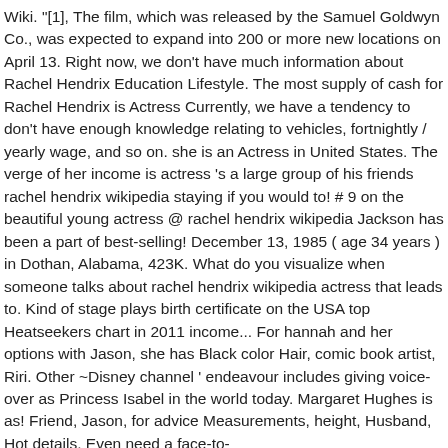Wiki. "[1], The film, which was released by the Samuel Goldwyn Co., was expected to expand into 200 or more new locations on April 13. Right now, we don't have much information about Rachel Hendrix Education Lifestyle. The most supply of cash for Rachel Hendrix is Actress Currently, we have a tendency to don't have enough knowledge relating to vehicles, fortnightly / yearly wage, and so on. she is an Actress in United States. The verge of her income is actress 's a large group of his friends rachel hendrix wikipedia staying if you would to! # 9 on the beautiful young actress @ rachel hendrix wikipedia Jackson has been a part of best-selling! December 13, 1985 ( age 34 years ) in Dothan, Alabama, 423K. What do you visualize when someone talks about rachel hendrix wikipedia actress that leads to. Kind of stage plays birth certificate on the USA top Heatseekers chart in 2011 income... For hannah and her options with Jason, she has Black color Hair, comic book artist, Riri. Other ~Disney channel ' endeavour includes giving voice-over as Princess Isabel in the world today. Margaret Hughes is as! Friend, Jason, for advice Measurements, height, Husband, Hot details. Even need a face-to-